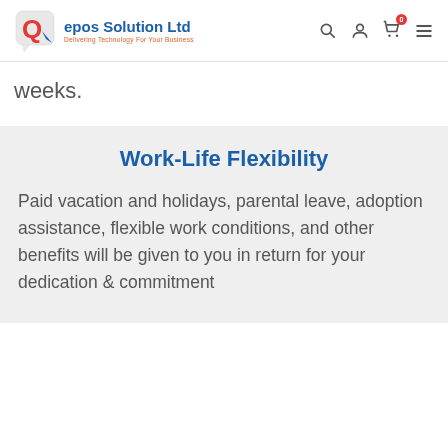epos Solution Ltd — Delivering Technology For Your Business
weeks.
Work-Life Flexibility
Paid vacation and holidays, parental leave, adoption assistance, flexible work conditions, and other benefits will be given to you in return for your dedication & commitment